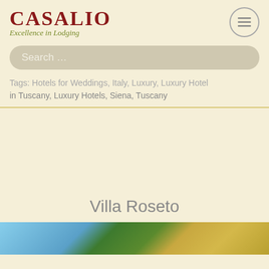[Figure (logo): CASALIO logo with tagline 'Excellence in Lodging']
Search …
Tags: Hotels for Weddings, Italy, Luxury, Luxury Hotel in Tuscany, Luxury Hotels, Siena, Tuscany
Villa Roseto
[Figure (photo): Landscape photo strip showing blue sky and green vegetation]